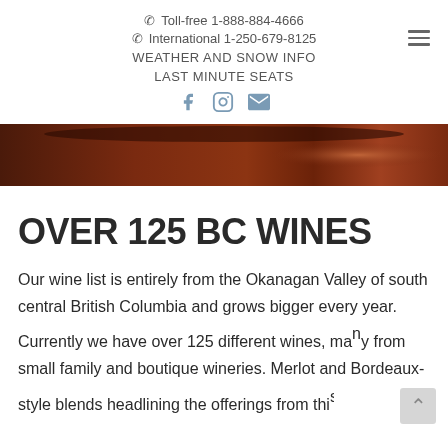☎ Toll-free 1-888-884-4666
☎ International 1-250-679-8125
WEATHER AND SNOW INFO
LAST MINUTE SEATS
[Figure (screenshot): Dark reddish-brown hero image — close-up of wine]
OVER 125 BC WINES
Our wine list is entirely from the Okanagan Valley of south central British Columbia and grows bigger every year. Currently we have over 125 different wines, many from small family and boutique wineries. Merlot and Bordeaux-style blends headlining the offerings from this